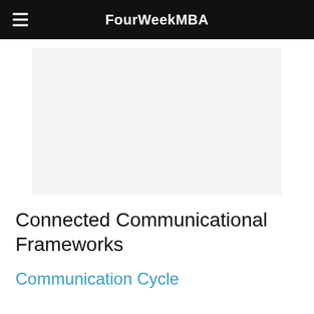FourWeekMBA
[Figure (other): Light gray rectangular placeholder image area]
Connected Communicational Frameworks
Communication Cycle